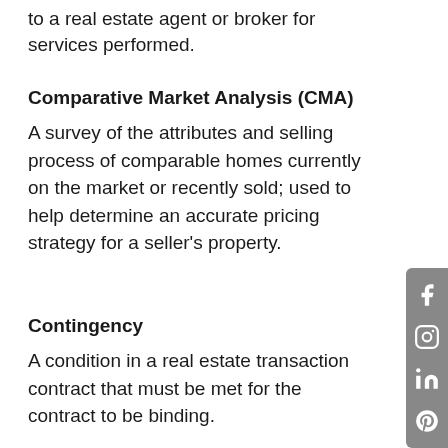to a real estate agent or broker for services performed.
Comparative Market Analysis (CMA)
A survey of the attributes and selling process of comparable homes currently on the market or recently sold; used to help determine an accurate pricing strategy for a seller’s property.
Contingency
A condition in a real estate transaction contract that must be met for the contract to be binding.
Contract